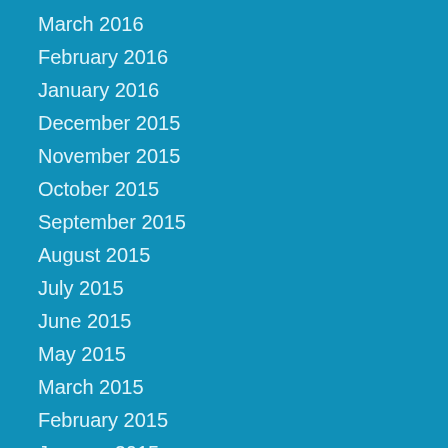March 2016
February 2016
January 2016
December 2015
November 2015
October 2015
September 2015
August 2015
July 2015
June 2015
May 2015
March 2015
February 2015
January 2015
December 2014
November 2014
October 2014